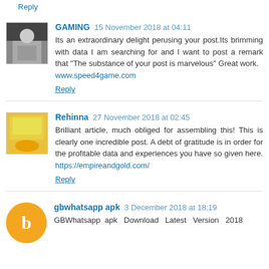Reply
GAMING  15 November 2018 at 04:11
Its an extraordinary delight perusing your post.Its brimming with data I am searching for and I want to post a remark that "The substance of your post is marvelous" Great work. www.speed4game.com
Reply
Rehinna  27 November 2018 at 02:45
Brilliant article, much obliged for assembling this! This is clearly one incredible post. A debt of gratitude is in order for the profitable data and experiences you have so given here. https://empireandgold.com/
Reply
gbwhatsapp apk  3 December 2018 at 18:19
GBWhatsapp apk Download Latest Version 2018